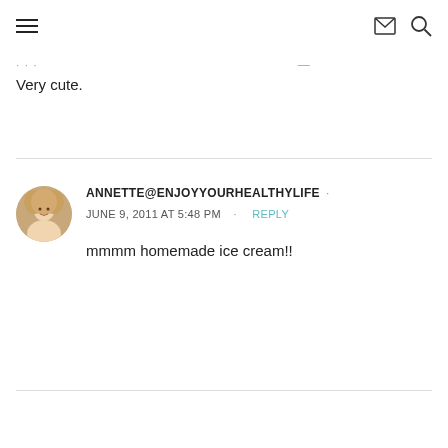[hamburger menu] [email icon] [search icon]
... Very cute.
ANNETTE@ENJOYYOURHEALTHYLIFE • JUNE 9, 2011 AT 5:48 PM • REPLY
mmmm homemade ice cream!!